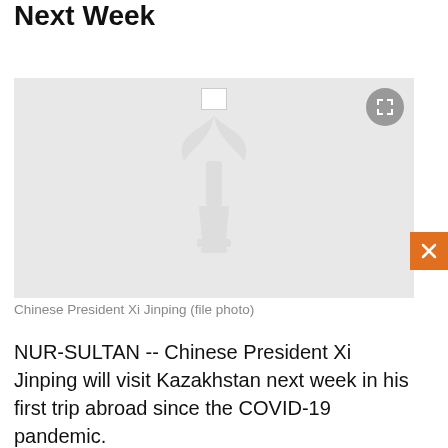Pandemic Will Be To Kazakhstan Next Week
[Figure (photo): A placeholder image with a watermark logo (RFE/RL torch and bird), showing a broken image icon at top, and an expand button. The image area is light gray. Caption: Chinese President Xi Jinping (file photo).]
Chinese President Xi Jinping (file photo)
NUR-SULTAN -- Chinese President Xi Jinping will visit Kazakhstan next week in his first trip abroad since the COVID-19 pandemic.